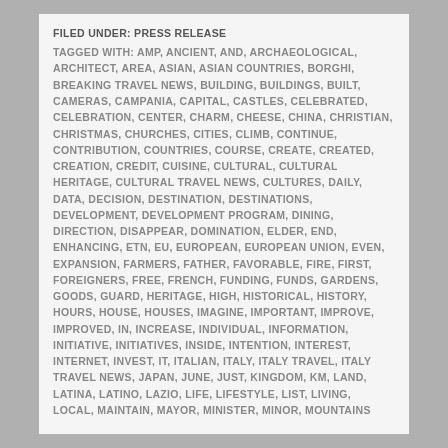FILED UNDER: PRESS RELEASE
TAGGED WITH: AMP, ANCIENT, AND, ARCHAEOLOGICAL, ARCHITECT, AREA, ASIAN, ASIAN COUNTRIES, BORGHI, BREAKING TRAVEL NEWS, BUILDING, BUILDINGS, BUILT, CAMERAS, CAMPANIA, CAPITAL, CASTLES, CELEBRATED, CELEBRATION, CENTER, CHARM, CHEESE, CHINA, CHRISTIAN, CHRISTMAS, CHURCHES, CITIES, CLIMB, CONTINUE, CONTRIBUTION, COUNTRIES, COURSE, CREATE, CREATED, CREATION, CREDIT, CUISINE, CULTURAL, CULTURAL HERITAGE, CULTURAL TRAVEL NEWS, CULTURES, DAILY, DATA, DECISION, DESTINATION, DESTINATIONS, DEVELOPMENT, DEVELOPMENT PROGRAM, DINING, DIRECTION, DISAPPEAR, DOMINATION, ELDER, END, ENHANCING, ETN, EU, EUROPEAN, EUROPEAN UNION, EVEN, EXPANSION, FARMERS, FATHER, FAVORABLE, FIRE, FIRST, FOREIGNERS, FREE, FRENCH, FUNDING, FUNDS, GARDENS, GOODS, GUARD, HERITAGE, HIGH, HISTORICAL, HISTORY, HOURS, HOUSE, HOUSES, IMAGINE, IMPORTANT, IMPROVE, IMPROVED, IN, INCREASE, INDIVIDUAL, INFORMATION, INITIATIVE, INITIATIVES, INSIDE, INTENTION, INTEREST, INTERNET, INVEST, IT, ITALIAN, ITALY, ITALY TRAVEL, ITALY TRAVEL NEWS, JAPAN, JUNE, JUST, KINGDOM, KM, LAND, LATINA, LATINO, LAZIO, LIFE, LIFESTYLE, LIST, LIVING, LOCAL, MAINTAIN, MAYOR, MINISTER, MINOR, MOUNTAINS